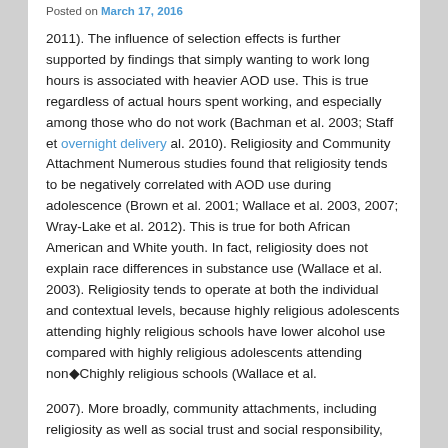Posted on March 17, 2016
2011). The influence of selection effects is further supported by findings that simply wanting to work long hours is associated with heavier AOD use. This is true regardless of actual hours spent working, and especially among those who do not work (Bachman et al. 2003; Staff et overnight delivery al. 2010). Religiosity and Community Attachment Numerous studies found that religiosity tends to be negatively correlated with AOD use during adolescence (Brown et al. 2001; Wallace et al. 2003, 2007; Wray-Lake et al. 2012). This is true for both African American and White youth. In fact, religiosity does not explain race differences in substance use (Wallace et al. 2003). Religiosity tends to operate at both the individual and contextual levels, because highly religious adolescents attending highly religious schools have lower alcohol use compared with highly religious adolescents attending non◆Chighly religious schools (Wallace et al.
2007). More broadly, community attachments, including religiosity as well as social trust and social responsibility,